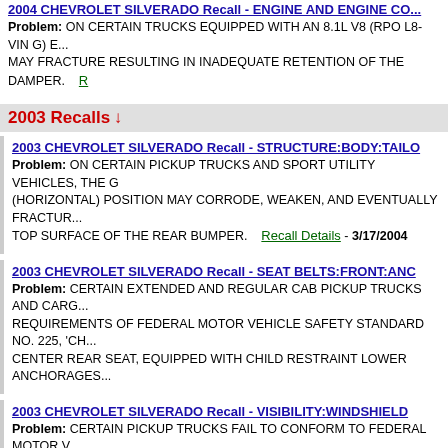2004 CHEVROLET SILVERADO Recall - ENGINE AND ENGINE CO...
Problem: ON CERTAIN TRUCKS EQUIPPED WITH AN 8.1L V8 (RPO L8-VIN G) E... MAY FRACTURE RESULTING IN INADEQUATE RETENTION OF THE DAMPER.
2003 Recalls ↓
2003 CHEVROLET SILVERADO Recall - STRUCTURE:BODY:TAILO...
Problem: ON CERTAIN PICKUP TRUCKS AND SPORT UTILITY VEHICLES, THE G (HORIZONTAL) POSITION MAY CORRODE, WEAKEN, AND EVENTUALLY FRACTU... TOP SURFACE OF THE REAR BUMPER. Recall Details - 3/17/2004
2003 CHEVROLET SILVERADO Recall - SEAT BELTS:FRONT:ANC...
Problem: CERTAIN EXTENDED AND REGULAR CAB PICKUP TRUCKS AND CARO... REQUIREMENTS OF FEDERAL MOTOR VEHICLE SAFETY STANDARD NO. 225, 'CH... CENTER REAR SEAT, EQUIPPED WITH CHILD RESTRAINT LOWER ANCHORAGES...
2003 CHEVROLET SILVERADO Recall - VISIBILITY:WINDSHIELD...
Problem: CERTAIN PICKUP TRUCKS FAIL TO CONFORM TO FEDERAL MOTOR V... LACK A CONTINUOUS URETHANE BONDING BEAD BETWEEN THE BODY SURFA...
2003 CHEVROLET SILVERADO Recall - SERVICE BRAKES, HYDR...
Problem: CERTAIN SPORT UTILITY VEHICLES, PICKUP TRUCKS, AND PASENO... STANDARD NO. 135, ?PASSENGER CAR BRAKE SYSTEMS.? SOME OF THESE VE... RELIEF VALVE BORE. Recall Details - 2/4/2004
2003 CHEVROLET SILVERADO Recall - SEAT BELTS:REAR/OTH...
Problem: ON CERTAIN CREW CAB PICKUP TRUCKS AND SPORT UTILITY VEHIC... POSITION THE LAP PORTION OF THE SAFETY BELT LOW AROUND THE HIPS OF C... USE OF A CHILD SEAT OR BOOSTER SEAT, AS RECOMMENDED FOR SMALL CHI...